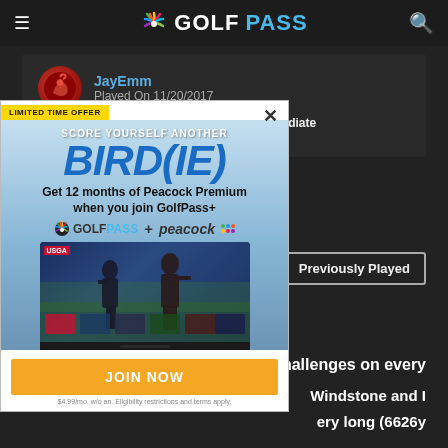GOLFPASS
JayEmm
Played On 11/20/2017
Reviews 97  Handicap 15-19  Skill Intermediate
Plays Once a week
[Figure (screenshot): Advertisement overlay for GolfPass+ with Peacock Premium promotion. Shows 'LIMITED TIME OFFER', 'SCORE YOURSELF ANOTHER BIRD(IE)', 'Get 12 months of Peacock Premium when you join GolfPass+', GolfPass + Peacock logos, USGA monitor image, JOIN NOW button, and fine print.]
Previously Played
hallenges on every
Windstone and I
ery long (6626y